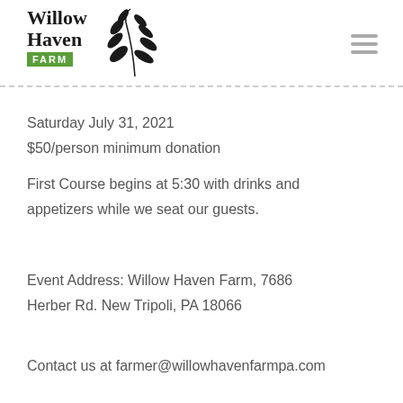[Figure (logo): Willow Haven Farm logo with stylized willow branch and green FARM badge]
Saturday July 31, 2021
$50/person minimum donation
First Course begins at 5:30 with drinks and appetizers while we seat our guests.
Event Address: Willow Haven Farm, 7686 Herber Rd. New Tripoli, PA 18066
Contact us at farmer@willowhavenfarmpa.com